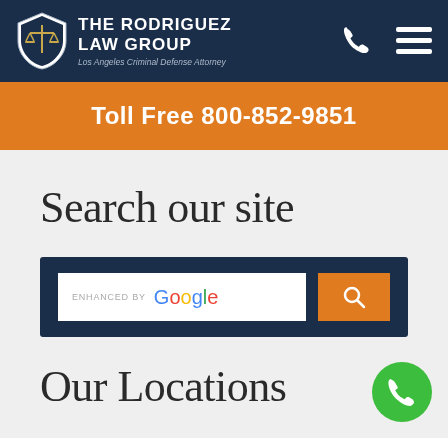The Rodriguez Law Group - Los Angeles Criminal Defense Attorney
Toll Free 800-852-9851
Search our site
[Figure (screenshot): Search bar with 'ENHANCED BY Google' text and orange search button with magnifying glass icon]
Our Locations